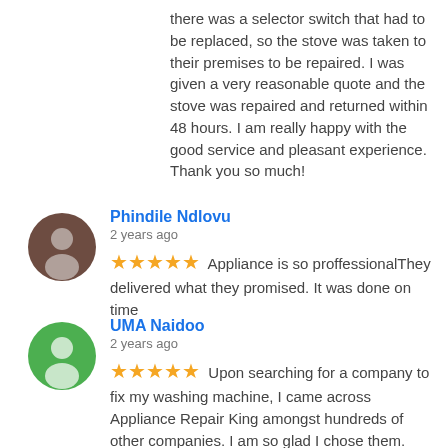there was a selector switch that had to be replaced, so the stove was taken to their premises to be repaired. I was given a very reasonable quote and the stove was repaired and returned within 48 hours. I am really happy with the good service and pleasant experience. Thank you so much!
Phindile Ndlovu
2 years ago
★★★★★ Appliance is so proffessionalThey delivered what they promised. It was done on time
UMA Naidoo
2 years ago
★★★★★ Upon searching for a company to fix my washing machine, I came across Appliance Repair King amongst hundreds of other companies. I am so glad I chose them. They were professional, efficient and timeous in picking my machine up and determining what was wrong with it. Luckily my machine was still under warranty and Mark graciously delivered my machine to LG at no charge. My point of contact at Appliance Repair was Ella and she was amazing. I would highly recommend Appliance Repair King for their professionalism, high quality and outstanding service.